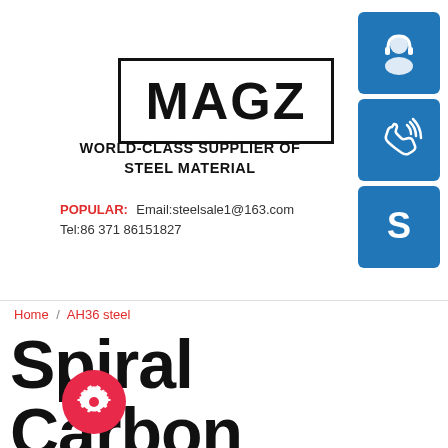[Figure (logo): MAGZ logo in bold black text inside a rectangular border]
[Figure (illustration): Three blue square icon buttons on right side: headset/support icon, phone/call icon, Skype icon]
WORLD-CLASS SUPPLIER OF STEEL MATERIAL
POPULAR: Email:steelsale1@163.com Tel:86 371 86151827
Home / AH36 steel
Spiral Carbon Pipe Steels